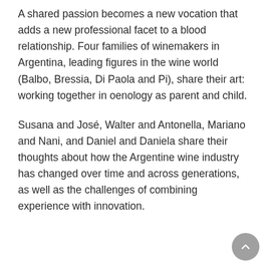A shared passion becomes a new vocation that adds a new professional facet to a blood relationship. Four families of winemakers in Argentina, leading figures in the wine world (Balbo, Bressia, Di Paola and Pi), share their art: working together in oenology as parent and child.
Susana and José, Walter and Antonella, Mariano and Nani, and Daniel and Daniela share their thoughts about how the Argentine wine industry has changed over time and across generations, as well as the challenges of combining experience with innovation.